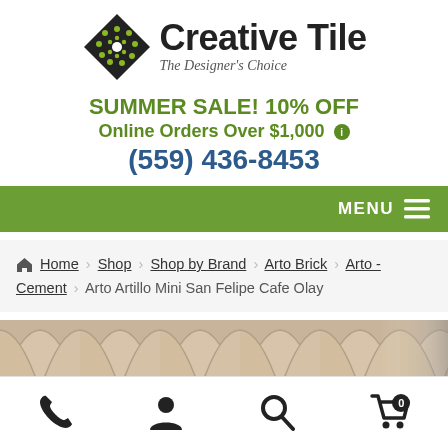[Figure (logo): Creative Tile logo with diamond shaped icon and text 'Creative Tile — The Designer's Choice']
SUMMER SALE! 10% OFF
Online Orders Over $1,000 ℹ
(559) 436-8453
MENU
Home › Shop › Shop by Brand › Arto Brick › Arto - Cement › Arto Artillo Mini San Felipe Cafe Olay
[Figure (photo): Photo of beige/tan decorative cement tile with scallop/arch pattern — Arto Artillo Mini San Felipe Cafe Olay]
Phone | User | Search | Cart (0)